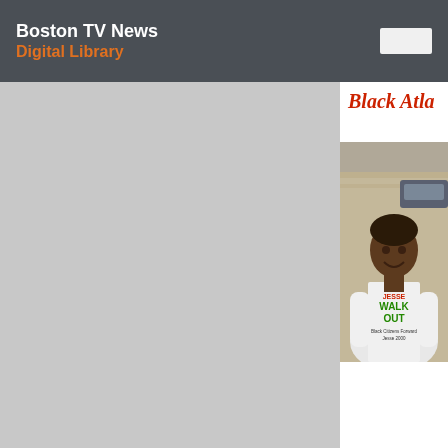Boston TV News Digital Library
Black Atla
[Figure (photo): Person wearing a white t-shirt that reads 'JESSE WALK OUT Black Citizens Forward Jesse 2000', photographed outdoors near a brick building with a car in the background.]